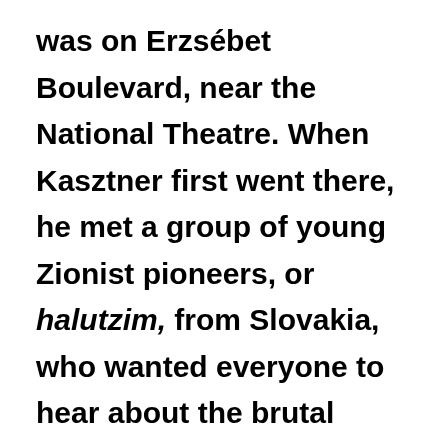was on Erzsébet Boulevard, near the National Theatre. When Kasztner first went there, he met a group of young Zionist pioneers, or halutzim, from Slovakia, who wanted everyone to hear about the brutal deportations they had witnessed. Only a few young people tried to escape: they had heard stories from the Polish refugees, and they suspected a fate that their parents refused to believe